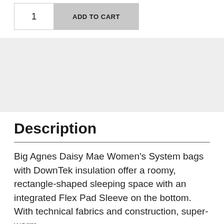1
ADD TO CART
Description
Big Agnes Daisy Mae Women's System bags with DownTek insulation offer a roomy, rectangle-shaped sleeping space with an integrated Flex Pad Sleeve on the bottom. With technical fabrics and construction, super-warm